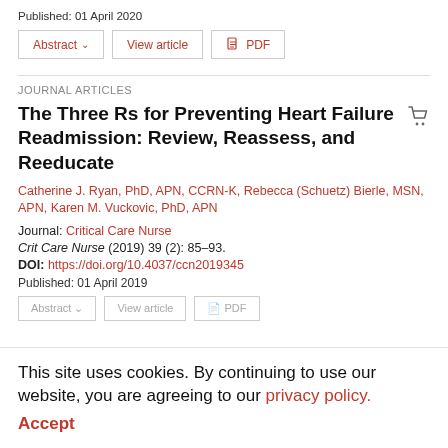Published: 01 April 2020
[Figure (screenshot): Button row with Abstract, View article, and PDF buttons]
JOURNAL ARTICLES
The Three Rs for Preventing Heart Failure Readmission: Review, Reassess, and Reeducate
Catherine J. Ryan, PhD, APN, CCRN-K, Rebecca (Schuetz) Bierle, MSN, APN, Karen M. Vuckovic, PhD, APN
Journal: Critical Care Nurse
Crit Care Nurse (2019) 39 (2): 85–93.
DOI: https://doi.org/10.4037/ccn2019345
Published: 01 April 2019
This site uses cookies. By continuing to use our website, you are agreeing to our privacy policy. Accept